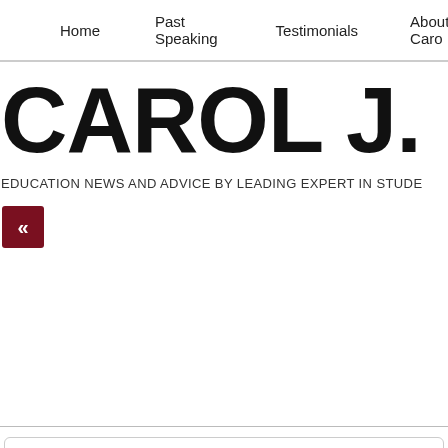Home | Past Speaking | Testimonials | About Caro
CAROL J. CAR
EDUCATION NEWS AND ADVICE BY LEADING EXPERT IN STUDE
[Figure (other): Navigation back button with double left arrow (<<) on dark red square background]
Teaching Your Child Smart Shopping Skills
[Figure (photo): Small broken/loading image placeholder]